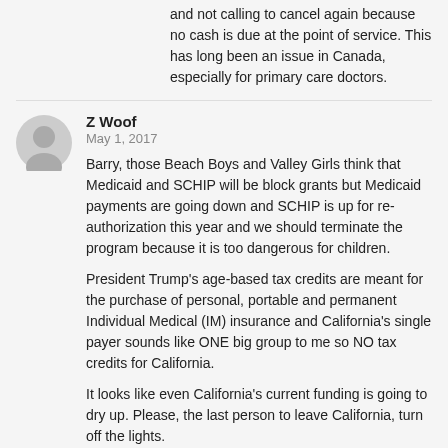and not calling to cancel again because no cash is due at the point of service. This has long been an issue in Canada, especially for primary care doctors.
Z Woof
May 1, 2017
Barry, those Beach Boys and Valley Girls think that Medicaid and SCHIP will be block grants but Medicaid payments are going down and SCHIP is up for re-authorization this year and we should terminate the program because it is too dangerous for children.
President Trump's age-based tax credits are meant for the purchase of personal, portable and permanent Individual Medical (IM) insurance and California's single payer sounds like ONE big group to me so NO tax credits for California.
It looks like even California's current funding is going to dry up. Please, the last person to leave California, turn off the lights.
Devon Herrick
May 1, 2017